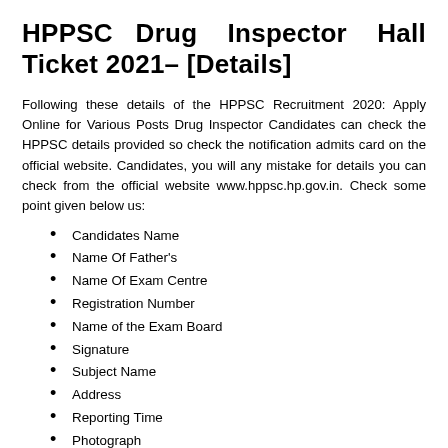HPPSC Drug Inspector Hall Ticket 2021– [Details]
Following these details of the HPPSC Recruitment 2020: Apply Online for Various Posts Drug Inspector Candidates can check the HPPSC details provided so check the notification admits card on the official website. Candidates, you will any mistake for details you can check from the official website www.hppsc.hp.gov.in. Check some point given below us:
Candidates Name
Name Of Father's
Name Of Exam Centre
Registration Number
Name of the Exam Board
Signature
Subject Name
Address
Reporting Time
Photograph